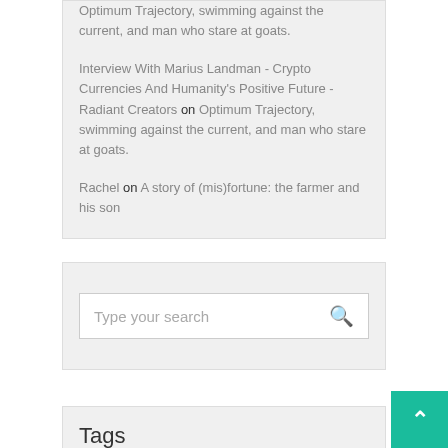Optimum Trajectory, swimming against the current, and man who stare at goats.
Interview With Marius Landman - Crypto Currencies And Humanity's Positive Future - Radiant Creators on Optimum Trajectory, swimming against the current, and man who stare at goats.
Rachel on A story of (mis)fortune: the farmer and his son
Type your search
Tags